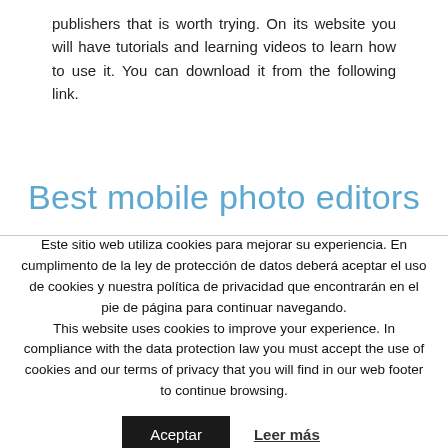publishers that is worth trying. On its website you will have tutorials and learning videos to learn how to use it. You can download it from the following link.
Best mobile photo editors
Este sitio web utiliza cookies para mejorar su experiencia. En cumplimento de la ley de protección de datos deberá aceptar el uso de cookies y nuestra política de privacidad que encontrarán en el pie de página para continuar navegando.
This website uses cookies to improve your experience. In compliance with the data protection law you must accept the use of cookies and our terms of privacy that you will find in our web footer to continue browsing.